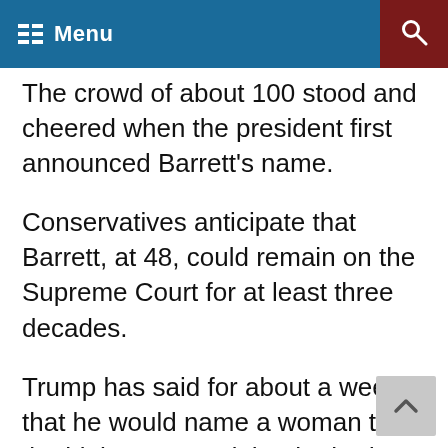Menu
The crowd of about 100 stood and cheered when the president first announced Barrett’s name.
Conservatives anticipate that Barrett, at 48, could remain on the Supreme Court for at least three decades.
Trump has said for about a week that he would name a woman to the high court, and that he had